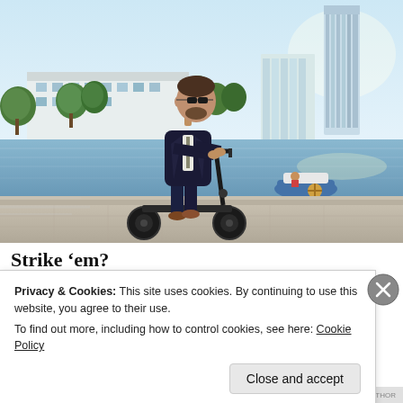[Figure (photo): A man in a dark business suit riding an electric scooter along a waterfront promenade. Buildings and trees visible in background, a pedal boat on the water. Motion blur indicates speed.]
Strike 'em?
Privacy & Cookies: This site uses cookies. By continuing to use this website, you agree to their use.
To find out more, including how to control cookies, see here: Cookie Policy
Close and accept